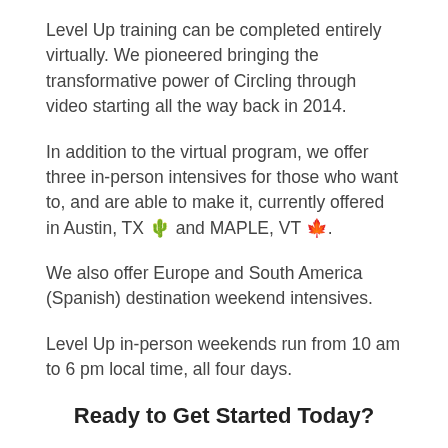Level Up training can be completed entirely virtually. We pioneered bringing the transformative power of Circling through video starting all the way back in 2014.
In addition to the virtual program, we offer three in-person intensives for those who want to, and are able to make it, currently offered in Austin, TX 🌵 and MAPLE, VT 🍁.
We also offer Europe and South America (Spanish) destination weekend intensives.
Level Up in-person weekends run from 10 am to 6 pm local time, all four days.
Ready to Get Started Today?